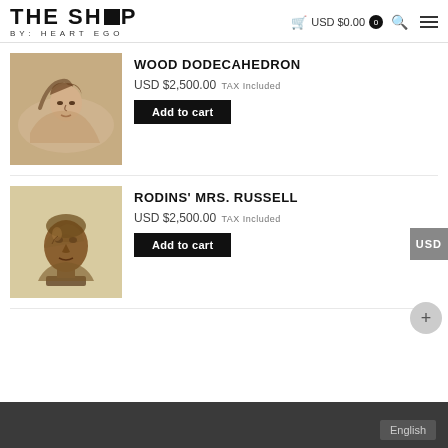THE SHOP BY: HEART EGO — USD $0.00 0
WOOD DODECAHEDRON — USD $2,500.00 TAX Included — Add to cart
[Figure (illustration): Sepia-toned drawing of a reclining female figure with arm over head]
RODINS' MRS. RUSSELL — USD $2,500.00 TAX Included — Add to cart
[Figure (illustration): Drawing of a bronze bust sculpture on a light beige background]
English